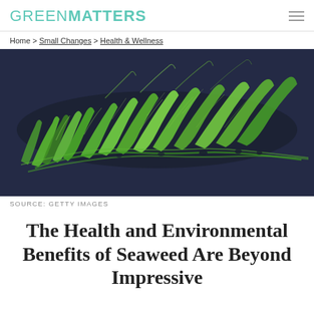GREENMATTERS
Home > Small Changes > Health & Wellness
[Figure (photo): Close-up photograph of green seaweed or algae strands against a dark navy/charcoal background. The seaweed appears fibrous and bright green, forming a wave-like mass.]
SOURCE: GETTY IMAGES
The Health and Environmental Benefits of Seaweed Are Beyond Impressive